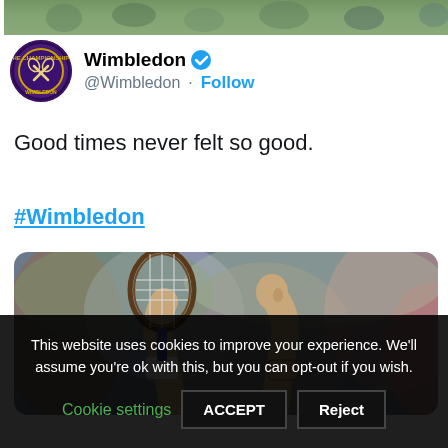[Figure (photo): Partial top photo showing Wimbledon crowd scene]
Wimbledon @Wimbledon · Follow
Good times never felt so good.

#Wimbledon
[Figure (photo): Tennis player raising arms in celebration with racket, crowd in background]
This website uses cookies to improve your experience. We'll assume you're ok with this, but you can opt-out if you wish. Cookie settings ACCEPT Reject